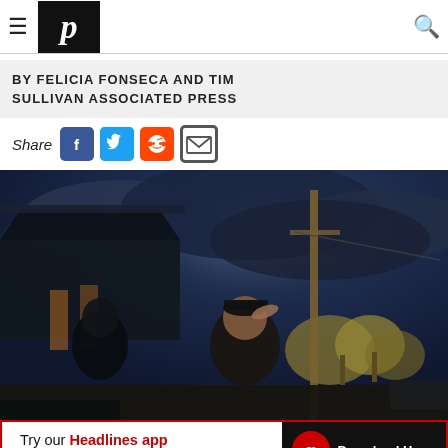Navigation bar with hamburger menu, P logo, and search icon
BY FELICIA FONSECA AND TIM SULLIVAN ASSOCIATED PRESS
Share [Facebook] [Twitter] [Reddit] [Email]
[Figure (photo): Outdoor scene at dusk or golden hour showing two people standing outside a building. A man wearing a dark t-shirt and cap shields his eyes with his hand, standing near a utility pole. Another person stands in the shadows to the left near a porch or overhang. Dark blue storm clouds fill the sky, with yellow-leafed trees in the background.]
Try our Headlines app for mobile | Download Here